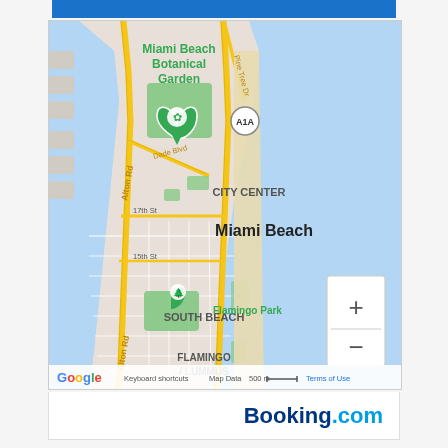[Figure (map): Google Map showing Miami Beach, Florida area including Miami Beach Botanical Garden, City Center, South Beach, Flamingo Park, and Flamingo/Lummus neighborhoods. A hotel location pin is visible near Miami Beach Botanical Garden. Road names include Alton Rd, Dade Blvd, Pine Tree Dr, 17th St, 15th St, and route A1A. Map includes zoom controls (+/-), scale bar (500 m), keyboard shortcuts, and Google/Terms of Use attribution.]
Booking.com